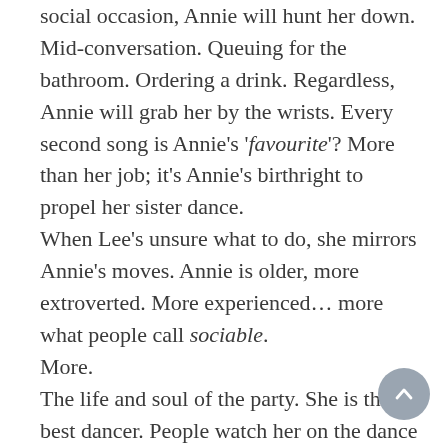social occasion, Annie will hunt her down. Mid-conversation. Queuing for the bathroom. Ordering a drink. Regardless, Annie will grab her by the wrists. Every second song is Annie's 'favourite'? More than her job; it's Annie's birthright to propel her sister dance.
When Lee's unsure what to do, she mirrors Annie's moves. Annie is older, more extroverted. More experienced... more what people call sociable.
More.
The life and soul of the party. She is the best dancer. People watch her on the dance floor – in a good way. They clap and join in when she hams it up with her crazy version of the mashed potato. She'll dance all night to anything, as Jim